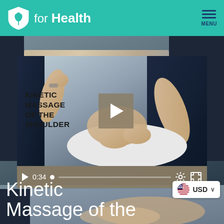FOR Health  MENU
[Figure (screenshot): Video thumbnail showing a massage therapist performing kinetic massage on a patient's shoulder. Video overlay text reads 'KINETIC MASSAGE OF THE SHOULDER'. A play button is centered on the video. Video controls show 0:34 timestamp with progress bar, settings gear icon, and fullscreen icon.]
Kinetic Massage of the